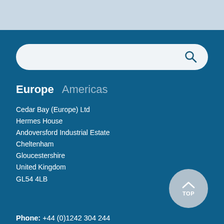[Figure (screenshot): Light blue header band at top of page with partial logo visible]
[Figure (screenshot): Search bar with rounded corners and magnifying glass icon on dark blue background]
Europe   Americas
Cedar Bay (Europe) Ltd
Hermes House
Andoversford Industrial Estate
Cheltenham
Gloucestershire
United Kingdom
GL54 4LB
[Figure (other): Circular back-to-top button with upward chevron arrow and text TOP]
Phone: +44 (0)1242 304 244